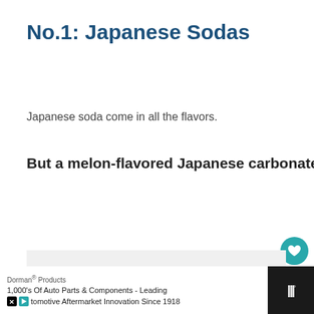No.1: Japanese Sodas
Japanese soda come in all the flavors.
But a melon-flavored Japanese carbonated drink should be the first one you try.
[Figure (other): UI elements: heart/like button with teal background showing heart icon, count of 9, and share button with plus icon]
[Figure (photo): Light gray image placeholder area]
[Figure (other): What's Next banner with circular thumbnail showing blue shelving/products, label WHAT'S NEXT with arrow, and text WHERE TO BUY...]
Dorman® Products
1,000's Of Auto Parts & Components - Leading tomotive Aftermarket Innovation Since 1918